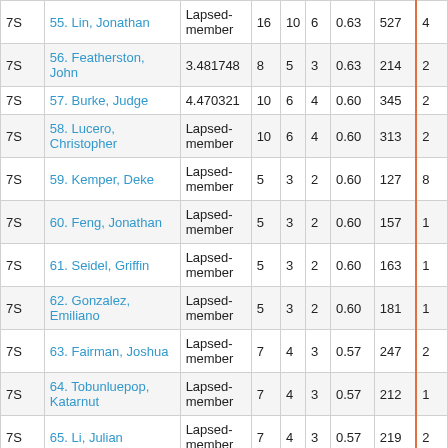|  | Name | Status | N1 | N2 | N3 | Dec | Score | Extra |
| --- | --- | --- | --- | --- | --- | --- | --- | --- |
| 7S | 55. Lin, Jonathan | Lapsed-member | 16 | 10 | 6 | 0.63 | 527 | 4 |
| 7S | 56. Featherston, John | 3.481748 | 8 | 5 | 3 | 0.63 | 214 | 2 |
| 7S | 57. Burke, Judge | 4.470321 | 10 | 6 | 4 | 0.60 | 345 | 2 |
| 7S | 58. Lucero, Christopher | Lapsed-member | 10 | 6 | 4 | 0.60 | 313 | 2 |
| 7S | 59. Kemper, Deke | Lapsed-member | 5 | 3 | 2 | 0.60 | 127 | 8 |
| 7S | 60. Feng, Jonathan | Lapsed-member | 5 | 3 | 2 | 0.60 | 157 | 1 |
| 7S | 61. Seidel, Griffin | Lapsed-member | 5 | 3 | 2 | 0.60 | 163 | 1 |
| 7S | 62. Gonzalez, Emiliano | Lapsed-member | 5 | 3 | 2 | 0.60 | 181 | 1 |
| 7S | 63. Fairman, Joshua | Lapsed-member | 7 | 4 | 3 | 0.57 | 247 | 2 |
| 7S | 64. Tobunluepop, Katarnut | Lapsed-member | 7 | 4 | 3 | 0.57 | 212 | 1 |
| 7S | 65. Li, Julian | Lapsed-member | 7 | 4 | 3 | 0.57 | 219 | 2 |